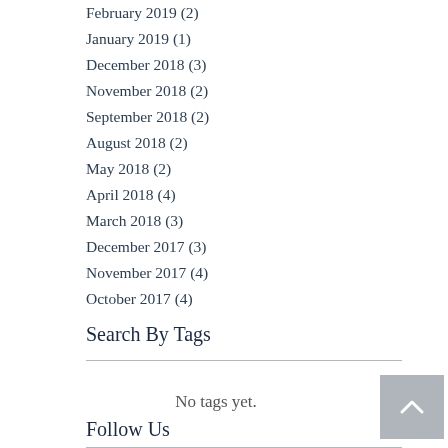February 2019 (2)
January 2019 (1)
December 2018 (3)
November 2018 (2)
September 2018 (2)
August 2018 (2)
May 2018 (2)
April 2018 (4)
March 2018 (3)
December 2017 (3)
November 2017 (4)
October 2017 (4)
Search By Tags
No tags yet.
Follow Us